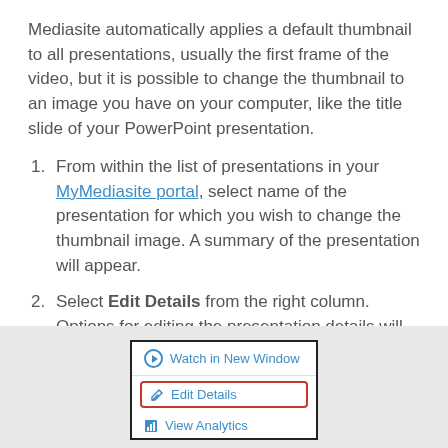Mediasite automatically applies a default thumbnail to all presentations, usually the first frame of the video, but it is possible to change the thumbnail to an image you have on your computer, like the title slide of your PowerPoint presentation.
From within the list of presentations in your MyMediasite portal, select name of the presentation for which you wish to change the thumbnail image. A summary of the presentation will appear.
Select Edit Details from the right column. Options for editing the presentation details will appear.
[Figure (screenshot): Screenshot showing a right-column menu with 'Watch in New Window', 'Edit Details' (highlighted with red border), and 'View Analytics' options.]